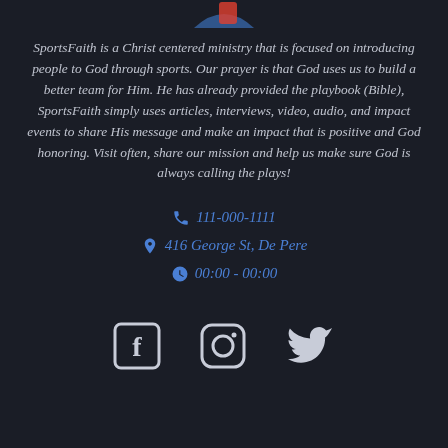[Figure (illustration): Partial image at top of page, cropped, showing sports/faith related graphic]
SportsFaith is a Christ centered ministry that is focused on introducing people to God through sports. Our prayer is that God uses us to build a better team for Him. He has already provided the playbook (Bible), SportsFaith simply uses articles, interviews, video, audio, and impact events to share His message and make an impact that is positive and God honoring. Visit often, share our mission and help us make sure God is always calling the plays!
111-000-1111
416 George St, De Pere
00:00 - 00:00
[Figure (illustration): Social media icons: Facebook, Instagram, Twitter]